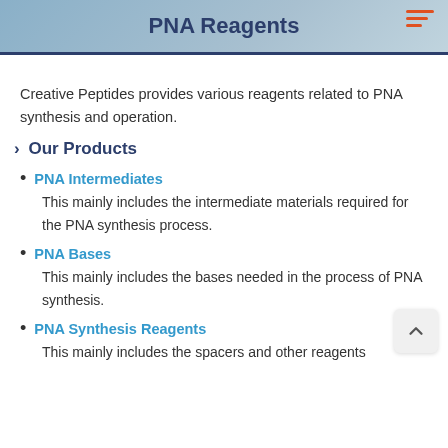PNA Reagents
Creative Peptides provides various reagents related to PNA synthesis and operation.
Our Products
PNA Intermediates
This mainly includes the intermediate materials required for the PNA synthesis process.
PNA Bases
This mainly includes the bases needed in the process of PNA synthesis.
PNA Synthesis Reagents
This mainly includes the spacers and other reagents